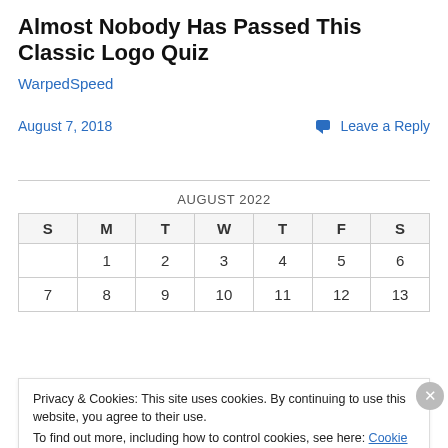Almost Nobody Has Passed This Classic Logo Quiz
WarpedSpeed
August 7, 2018
💬 Leave a Reply
| S | M | T | W | T | F | S |
| --- | --- | --- | --- | --- | --- | --- |
|  | 1 | 2 | 3 | 4 | 5 | 6 |
| 7 | 8 | 9 | 10 | 11 | 12 | 13 |
Privacy & Cookies: This site uses cookies. By continuing to use this website, you agree to their use. To find out more, including how to control cookies, see here: Cookie Policy
Close and accept